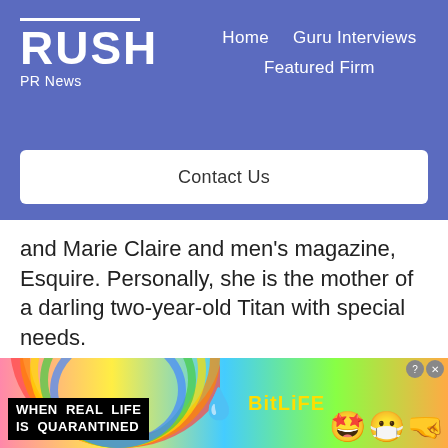RUSH PR News — Home | Guru Interviews | Featured Firm
Contact Us
and Marie Claire and men's magazine, Esquire. Personally, she is the mother of a darling two-year-old Titan with special needs.
What is Follow Your Bliss?
Follow Your Bliss is a female-friendly, positive lifestyle blog for women and
[Figure (infographic): BitLife advertisement banner with rainbow gradient background, black text block reading WHEN REAL LIFE IS QUARANTINED, sperm icon, yellow BitLife text, and cartoon emoji icons of stars, masked face, and fist on right side with close/question buttons]